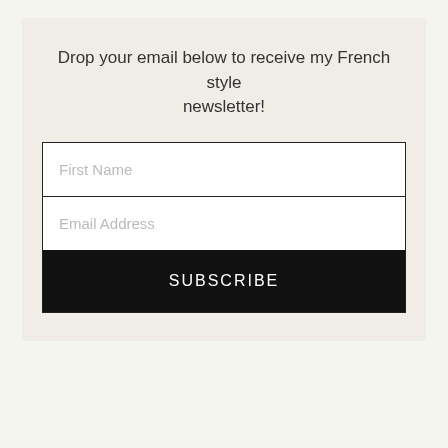Drop your email below to receive my French style newsletter!
[Figure (other): Email subscription form with First Name field, Email Address field, and a SUBSCRIBE button on black background]